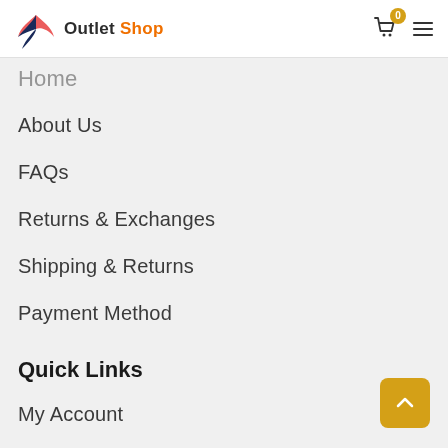Outlet Shop
About Us
FAQs
Returns & Exchanges
Shipping & Returns
Payment Method
Quick Links
My Account
Orders Tracking
Term and Conditions
Privacy Policy
Contact Us